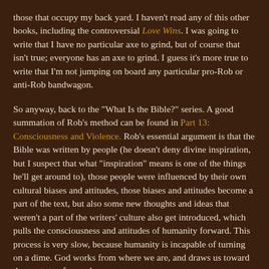those that occupy my back yard. I haven't read any of this other books, including the controversial Love Wins. I was going to write that I have no particular axe to grind, but of course that isn't true; everyone has an axe to grind. I guess it's more true to write that I'm not jumping on board any particular pro-Rob or anti-Rob bandwagon.
So anyway, back to the "What Is the Bible?" series. A good summation of Rob's method can be found in Part 13: Consciousness and Violence. Rob's essential argument is that the Bible was written by people (he doesn't deny divine inspiration, but I suspect that what "inspiration" means is one of the things he'll get around to), those people were influenced by their own cultural biases and attitudes, those biases and attitudes become a part of the text, but also some new thoughts and ideas that weren't a part of the writers' culture also get introduced, which pulls the consciousness and attitudes of humanity forward. This process is very slow, because humanity is incapable of turning on a dime. God works from where we are, and draws us toward the next step forward.